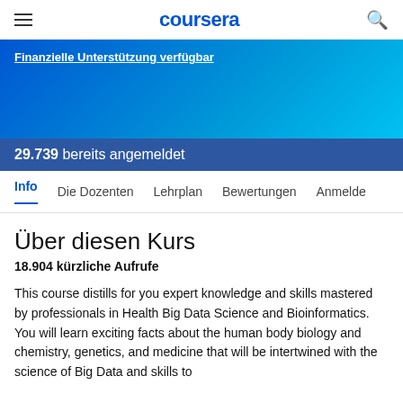coursera
Finanzielle Unterstützung verfügbar
29.739 bereits angemeldet
Info   Die Dozenten   Lehrplan   Bewertungen   Anmelde
Über diesen Kurs
18.904 kürzliche Aufrufe
This course distills for you expert knowledge and skills mastered by professionals in Health Big Data Science and Bioinformatics. You will learn exciting facts about the human body biology and chemistry, genetics, and medicine that will be intertwined with the science of Big Data and skills to